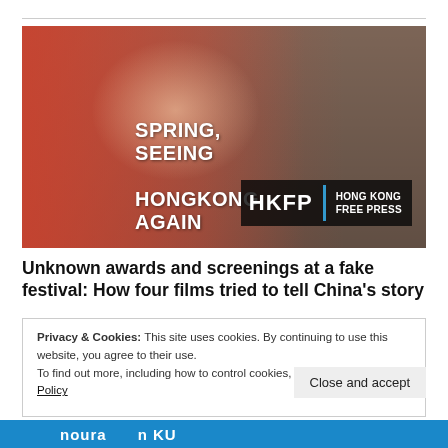[Figure (photo): A man wearing a t-shirt with text 'SPRING, SEEING HONGKONG AGAIN' being photographed or filmed, with a warm red-orange color wash on the left side. HKFP (Hong Kong Free Press) logo badge visible in bottom right of image.]
Unknown awards and screenings at a fake festival: How four films tried to tell China's story
Privacy & Cookies: This site uses cookies. By continuing to use this website, you agree to their use.
To find out more, including how to control cookies, see here: Cookie Policy
Close and accept
[Figure (photo): Partial bottom strip showing blue background with partial text 'noura' and 'n KU' visible — bottom teaser image strip.]